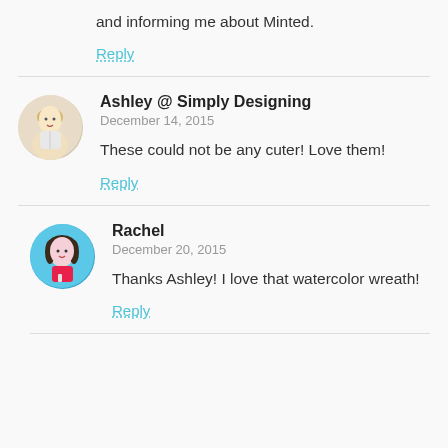and informing me about Minted.
Reply
Ashley @ Simply Designing
December 14, 2015
These could not be any cuter! Love them!
Reply
Rachel
December 20, 2015
Thanks Ashley! I love that watercolor wreath!
Reply